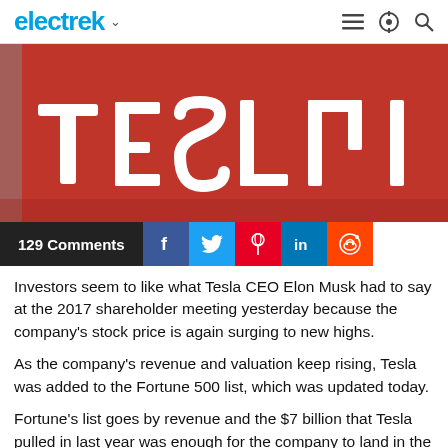electrek
[Figure (photo): Tesla signage on a red wall, showing partial TESLA letters in white 3D lettering]
129 Comments
Investors seem to like what Tesla CEO Elon Musk had to say at the 2017 shareholder meeting yesterday because the company's stock price is again surging to new highs.
As the company's revenue and valuation keep rising, Tesla was added to the Fortune 500 list, which was updated today.
Fortune's list goes by revenue and the $7 billion that Tesla pulled in last year was enough for the company to land in the #383 position.
For Tesla's introduction in the list, Fortune published a report